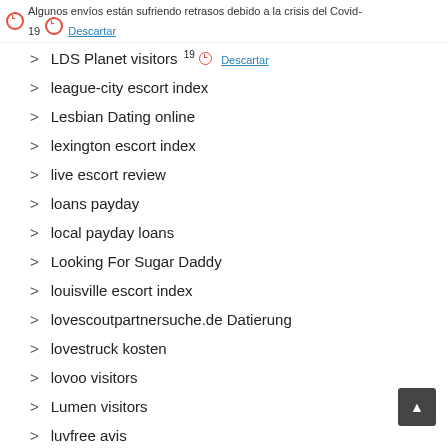Algunos envíos están sufriendo retrasos debido a la crisis del Covid-19  Descartar
LDS Planet visitors
league-city escort index
Lesbian Dating online
lexington escort index
live escort review
loans payday
local payday loans
Looking For Sugar Daddy
louisville escort index
lovescoutpartnersuche.de Datierung
lovestruck kosten
lovoo visitors
Lumen visitors
luvfree avis